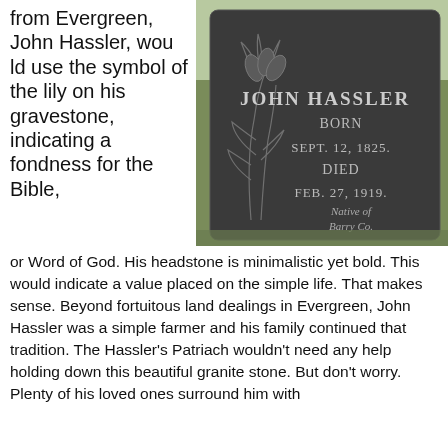from Evergreen, John Hassler, would use the symbol of the lily on his gravestone, indicating a fondness for the Bible,
[Figure (photo): Photograph of John Hassler's dark granite gravestone. The stone reads: JOHN HASSLER BORN SEPT. 12, 1825. DIED FEB. 27, 1919. Native of Barry Co. A carved lily decorates the upper left of the stone.]
or Word of God.  His headstone is minimalistic yet bold.  This would indicate a value placed on the simple life.  That makes sense.  Beyond fortuitous land dealings in Evergreen, John Hassler was a simple farmer and his family continued that tradition.  The Hassler's Patriach wouldn't need any help holding down this beautiful granite stone.  But don't worry.  Plenty of his loved ones surround him with